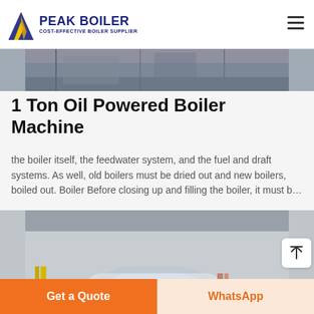PEAK BOILER | COST-EFFECTIVE BOILER SUPPLIER
[Figure (photo): Cropped top portion of industrial boiler photograph]
1 Ton Oil Powered Boiler Machine
the boiler itself, the feedwater system, and the fuel and draft systems. As well, old boilers must be dried out and new boilers, boiled out. Boiler Before closing up and filling the boiler, it must b…
[Figure (photo): Industrial oil-powered boiler machine in a factory setting, showing large cylindrical boiler vessel with Chinese text markings, control panel and pipe systems visible]
Get a Quote
WhatsApp